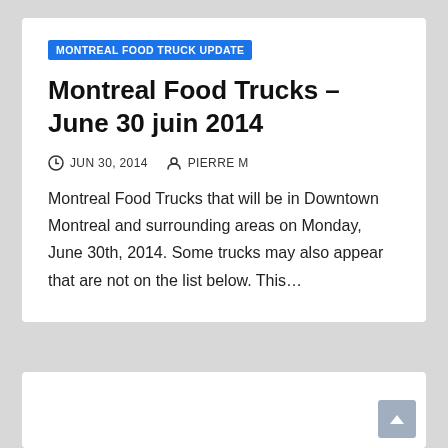MONTREAL FOOD TRUCK UPDATE
Montreal Food Trucks – June 30 juin 2014
JUN 30, 2014   PIERRE M
Montreal Food Trucks that will be in Downtown Montreal and surrounding areas on Monday, June 30th, 2014. Some trucks may also appear that are not on the list below. This…